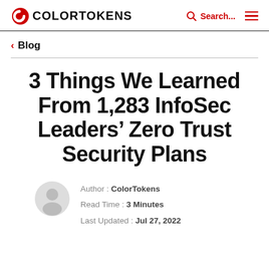COLORTOKENS | Search... | menu
< Blog
3 Things We Learned From 1,283 InfoSec Leaders' Zero Trust Security Plans
Author : ColorTokens
Read Time : 3 Minutes
Last Updated : Jul 27, 2022